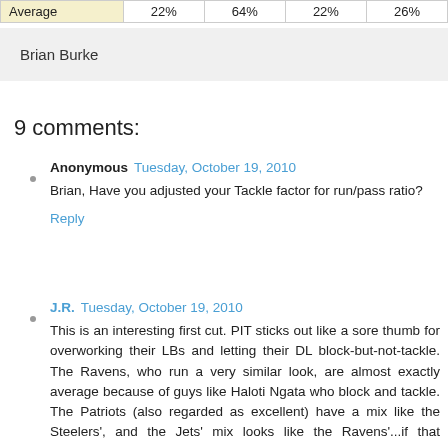| Average | 22% | 64% | 22% | 26% |
| --- | --- | --- | --- | --- |
Brian Burke
9 comments:
Anonymous  Tuesday, October 19, 2010
Brian, Have you adjusted your Tackle factor for run/pass ratio?
Reply
J.R.  Tuesday, October 19, 2010
This is an interesting first cut. PIT sticks out like a sore thumb for overworking their LBs and letting their DL block-but-not-tackle. The Ravens, who run a very similar look, are almost exactly average because of guys like Haloti Ngata who block and tackle. The Patriots (also regarded as excellent) have a mix like the Steelers', and the Jets' mix looks like the Ravens'...if that surprises you. Google "Rox